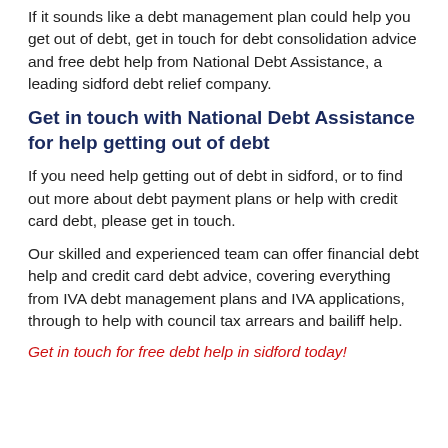If it sounds like a debt management plan could help you get out of debt, get in touch for debt consolidation advice and free debt help from National Debt Assistance, a leading sidford debt relief company.
Get in touch with National Debt Assistance for help getting out of debt
If you need help getting out of debt in sidford, or to find out more about debt payment plans or help with credit card debt, please get in touch.
Our skilled and experienced team can offer financial debt help and credit card debt advice, covering everything from IVA debt management plans and IVA applications, through to help with council tax arrears and bailiff help.
Get in touch for free debt help in sidford today!